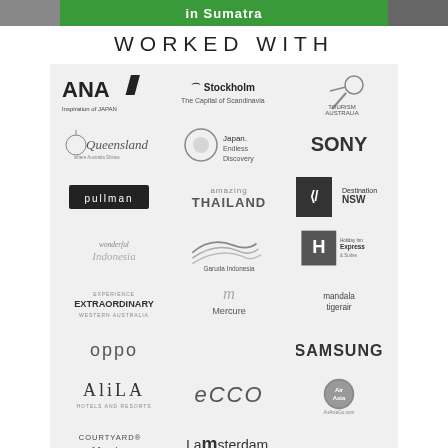[Figure (photo): Banner image strip at top showing 'in Sumatra' text on green background with nature/wildlife imagery]
WORKED WITH
[Figure (other): Grid of brand logos on light grey background including: ANA Inspiration of JAPAN, Stockholm The Capital of Scandinavia, Tourism Australia, Queensland, Japan Endless Discovery, Sony, Pullman, Amazing Thailand, Destination NSW, Wonderful Indonesia, Garuda Indonesia, Holiday Inn Express & Suites, Experience Extraordinary Western Australia, Mercure, Mandala Tigerair, Oppo, Samsung, Alila Hotels and Resorts, Ecco, AirAsia AirAsiaGo.com, Courtyard Marriott, I amsterdam]